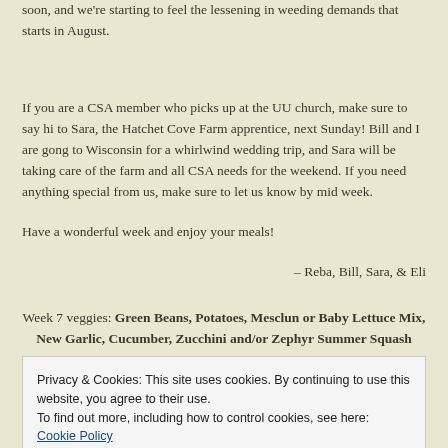soon, and we're starting to feel the lessening in weeding demands that starts in August.
If you are a CSA member who picks up at the UU church, make sure to say hi to Sara, the Hatchet Cove Farm apprentice, next Sunday!  Bill and I are gong to Wisconsin for a whirlwind wedding trip, and Sara will be taking care of the farm and all CSA needs for the weekend.  If you need anything special from us, make sure to let us know by mid week.
Have a wonderful week and enjoy your meals!
– Reba, Bill, Sara, & Eli
Week 7 veggies:  Green Beans, Potatoes, Mesclun or Baby Lettuce Mix, New Garlic, Cucumber, Zucchini and/or Zephyr Summer Squash
Privacy & Cookies: This site uses cookies. By continuing to use this website, you agree to their use.
To find out more, including how to control cookies, see here: Cookie Policy
Close and accept